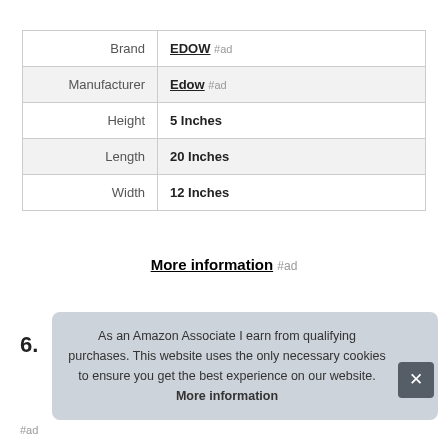|  |  |
| --- | --- |
| Brand | EDOW #ad |
| Manufacturer | Edow #ad |
| Height | 5 Inches |
| Length | 20 Inches |
| Width | 12 Inches |
More information #ad
6.
As an Amazon Associate I earn from qualifying purchases. This website uses the only necessary cookies to ensure you get the best experience on our website. More information
#ad